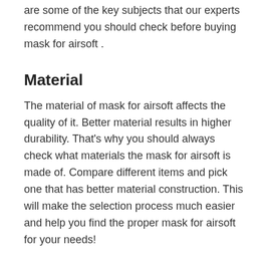are some of the key subjects that our experts recommend you should check before buying mask for airsoft .
Material
The material of mask for airsoft affects the quality of it. Better material results in higher durability. That’s why you should always check what materials the mask for airsoft is made of. Compare different items and pick one that has better material construction. This will make the selection process much easier and help you find the proper mask for airsoft for your needs!
Ease of Use